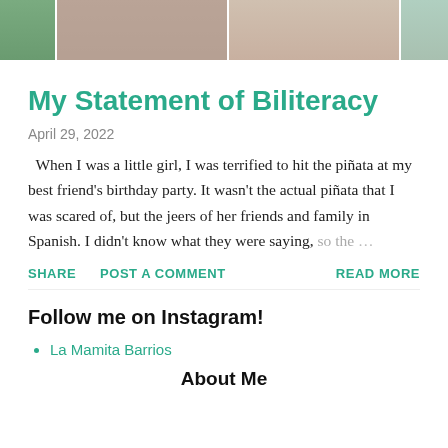[Figure (photo): Photo strip showing people at what appears to be a family or social gathering, cropped horizontally across the top of the page.]
My Statement of Biliteracy
April 29, 2022
When I was a little girl, I was terrified to hit the piñata at my best friend's birthday party. It wasn't the actual piñata that I was scared of, but the jeers of her friends and family in Spanish. I didn't know what they were saying, so the …
SHARE   POST A COMMENT   READ MORE
Follow me on Instagram!
La Mamita Barrios
About Me